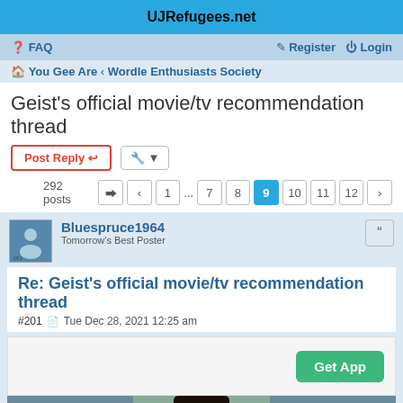UJRefugees.net
FAQ   Register   Login
You Gee Are < Wordle Enthusiasts Society
Geist's official movie/tv recommendation thread
Post Reply   [tools]
292 posts  [page nav] 1 ... 7 8 9 10 11 12
Bluespruce1964
Tomorrow's Best Poster
Re: Geist's official movie/tv recommendation thread
#201  Tue Dec 28, 2021 12:25 am
[Figure (screenshot): Advertisement banner with Get App button]
[Figure (photo): Person with long dark hair, partial face visible at bottom of page]